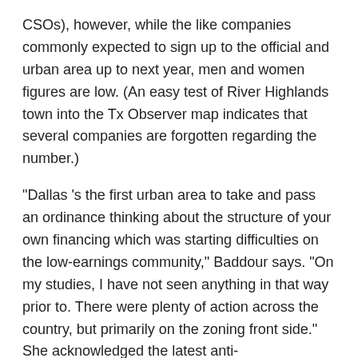CSOs), however, while the like companies commonly expected to sign up to the official and urban area up to next year, men and women figures are low. (An easy test of River Highlands town into the Tx Observer map indicates that several companies are forgotten regarding the number.)
“Dallas ’s the first urban area to take and pass an ordinance thinking about the structure of your own financing which was starting difficulties on the low-earnings community,” Baddour says. “On my studies, I have not seen anything in that way prior to. There were plenty of action across the country, but primarily on the zoning front side.” She acknowledged the latest anti-impoverishment coalition inside Dallas, contributed from the CitySquare and you may United Ways, which was “slightly interested,” and you will provided Allen credit for being “a leader in your neighborhood … It’s very unbelievable to me observe to see just how he’s found for example hobbies and you may connection on this issue.”